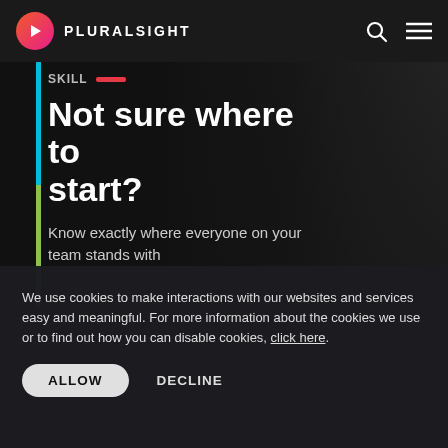PLURALSIGHT
Not sure where to start?
Know exactly where everyone on your team stands with
We use cookies to make interactions with our websites and services easy and meaningful. For more information about the cookies we use or to find out how you can disable cookies, click here.
ALLOW   DECLINE